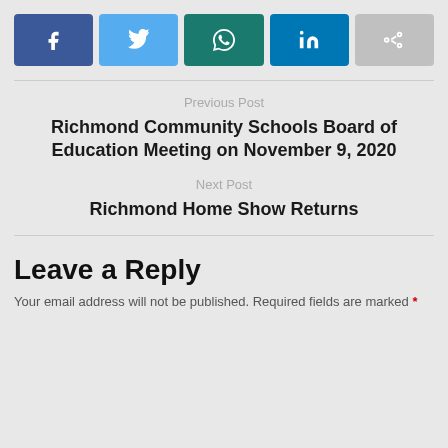[Figure (infographic): Row of five social media share buttons: Facebook (dark blue), Twitter (light blue), WhatsApp (dark teal), LinkedIn (medium blue), Share/other (light gray)]
Previous Post
Richmond Community Schools Board of Education Meeting on November 9, 2020
Next Post
Richmond Home Show Returns
Leave a Reply
Your email address will not be published. Required fields are marked *